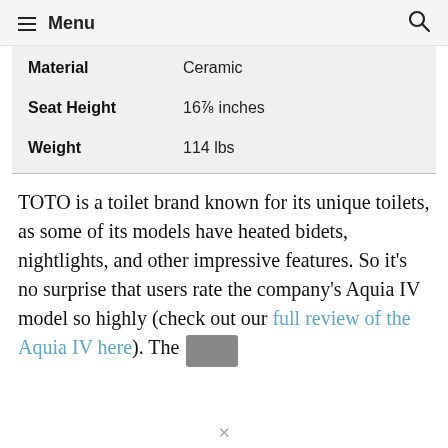≡ Menu
| Material | Ceramic |
| Seat Height | 16⅞ inches |
| Weight | 114 lbs |
TOTO is a toilet brand known for its unique toilets, as some of its models have heated bidets, nightlights, and other impressive features. So it's no surprise that users rate the company's Aquia IV model so highly (check out our full review of the Aquia IV here). The